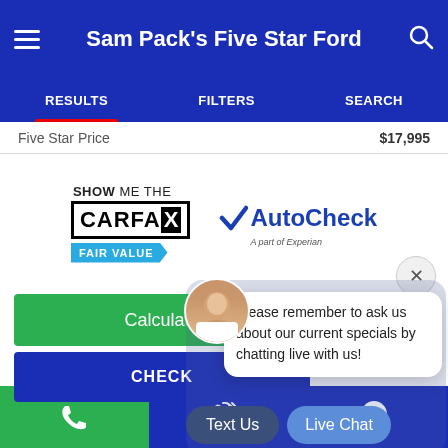Sam Pack's Five Star Ford
RESULTS | FILTERS | SEARCH
Five Star Price  $17,995
[Figure (logo): SHOW ME THE CARFAX FAIR VALUE badge and AutoCheck A part of Experian logo]
Calculate
CHECK
Please remember to ask us about our current specials by chatting live with us!
Text Us
Live Chat
Phone | Wrench | Location